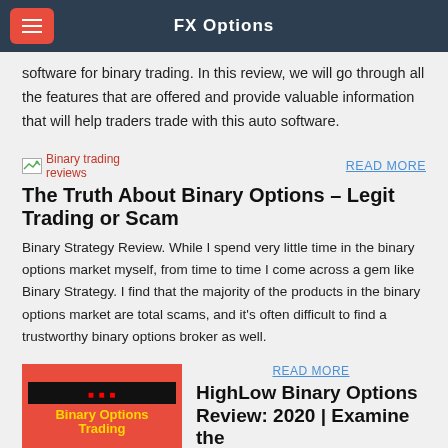FX Options
software for binary trading. In this review, we will go through all the features that are offered and provide valuable information that will help traders trade with this auto software.
Binary trading reviews
READ MORE
The Truth About Binary Options – Legit Trading or Scam
Binary Strategy Review. While I spend very little time in the binary options market myself, from time to time I come across a gem like Binary Strategy. I find that the majority of the products in the binary options market are total scams, and it's often difficult to find a trustworthy binary options broker as well.
[Figure (photo): Binary Options Trading book cover with red and black background, yellow and cyan text]
READ MORE
HighLow Binary Options Review: 2020 | Examine the